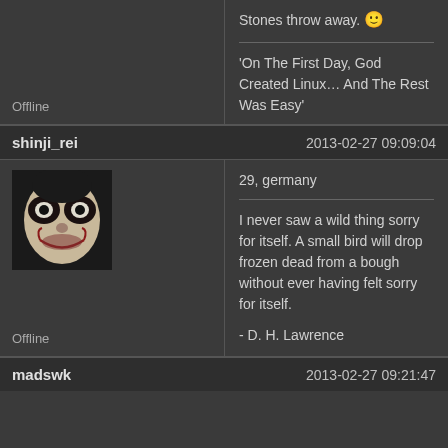Stones throw away. 🙂
'On The First Day, God Created Linux… And The Rest Was Easy'
Offline
shinji_rei   2013-02-27 09:09:04
[Figure (photo): Avatar photo of a person with Joker-like face paint, black and white, dark background]
29, germany
I never saw a wild thing sorry for itself. A small bird will drop frozen dead from a bough without ever having felt sorry for itself.
- D. H. Lawrence
Offline
madswk   2013-02-27 09:21:47